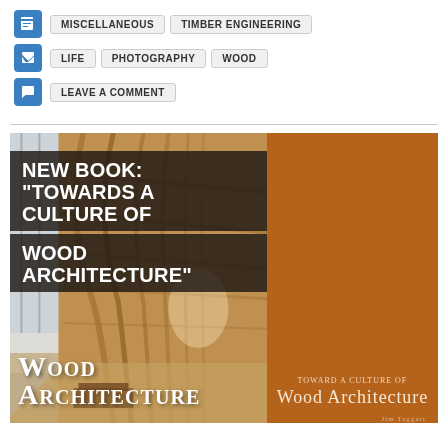MISCELLANEOUS   TIMBER ENGINEERING
LIFE   PHOTOGRAPHY   WOOD
LEAVE A COMMENT
[Figure (photo): Book cover and interior photo of 'Toward a Culture of Wood Architecture' by Jim Taggart, showing a curved timber arch interior corridor on the left and brown book cover on the right with title text overlay reading NEW BOOK: "TOWARDS A CULTURE OF WOOD ARCHITECTURE"]